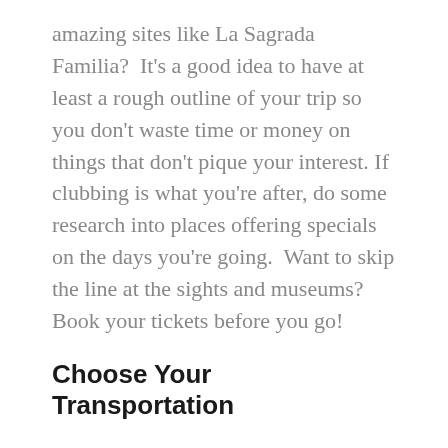amazing sites like La Sagrada Familia?  It's a good idea to have at least a rough outline of your trip so you don't waste time or money on things that don't pique your interest. If clubbing is what you're after, do some research into places offering specials on the days you're going.  Want to skip the line at the sights and museums? Book your tickets before you go!
Choose Your Transportation
This is probably the most tragically overlooked part of any weekend trip, and it can cause all kinds of problems if you aren't careful.  Excited for your dirt-cheap Ryanair flight from Pisa to Barcelona? Well, no, not exactly. See, a lot of cheap airlines advertise flights to big cities like